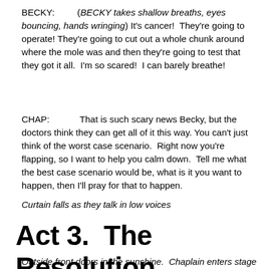BECKY:        (BECKY takes shallow breaths, eyes bouncing, hands wringing) It's cancer!  They're going to operate! They're going to cut out a whole chunk around where the mole was and then they're going to test that they got it all.  I'm so scared!  I can barely breathe!
CHAP:           That is such scary news Becky, but the doctors think they can get all of it this way. You can't just think of the worst case scenario.  Right now you're flapping, so I want to help you calm down.  Tell me what the best case scenario would be, what is it you want to happen, then I'll pray for that to happen.
Curtain falls as they talk in low voices
Act 3.  The Resolution
Outside front doors in the sunshine.  Chaplain enters stage right,